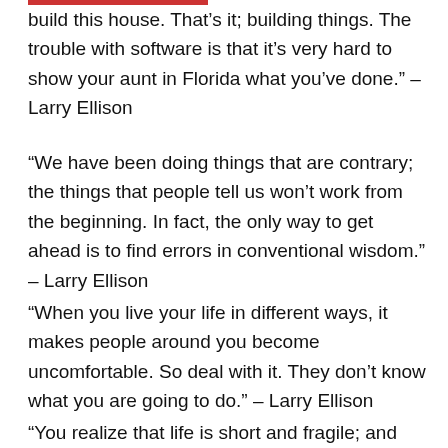build this house. That’s it; building things. The trouble with software is that it’s very hard to show your aunt in Florida what you’ve done.” – Larry Ellison
“We have been doing things that are contrary; the things that people tell us won’t work from the beginning. In fact, the only way to get ahead is to find errors in conventional wisdom.” – Larry Ellison
“When you live your life in different ways, it makes people around you become uncomfortable. So deal with it. They don’t know what you are going to do.” – Larry Ellison
“You realize that life is short and fragile; and when